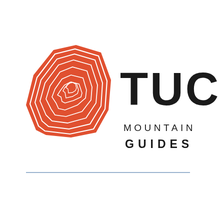[Figure (logo): TUC Mountain Guides logo: an orange/red topographic contour map shape resembling a mountain rock face on the left, with bold black text 'TUC' in large letters and 'MOUNTAIN GUIDES' in smaller spaced capitals below to the right. A thin blue horizontal line runs below the logo.]